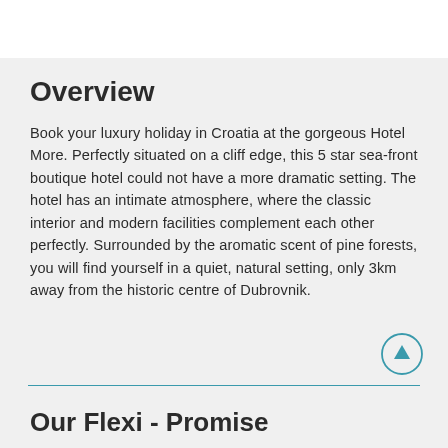Overview
Book your luxury holiday in Croatia at the gorgeous Hotel More. Perfectly situated on a cliff edge, this 5 star sea-front boutique hotel could not have a more dramatic setting. The hotel has an intimate atmosphere, where the classic interior and modern facilities complement each other perfectly. Surrounded by the aromatic scent of pine forests, you will find yourself in a quiet, natural setting, only 3km away from the historic centre of Dubrovnik.
Our Flexi - Promise